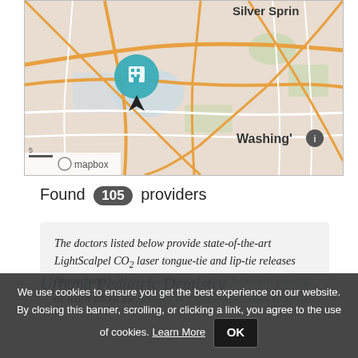[Figure (map): Mapbox map showing Washington DC area with Silver Spring visible in top right, a teal map pin marker on the left side, and 'Washington' label with info icon on the right. Roads shown in orange/white on beige background.]
Found 105 providers
The doctors listed below provide state-of-the-art LightScalpel CO2 laser tongue-tie and lip-tie releases (frenectomy). Watch video testimonials from past patients or learn about the benefits of LightScalpel laser surgery.
Urbana Pediatric Dentistry
We use cookies to ensure you get the best experience on our website. By closing this banner, scrolling, or clicking a link, you agree to the use of cookies. Learn More OK